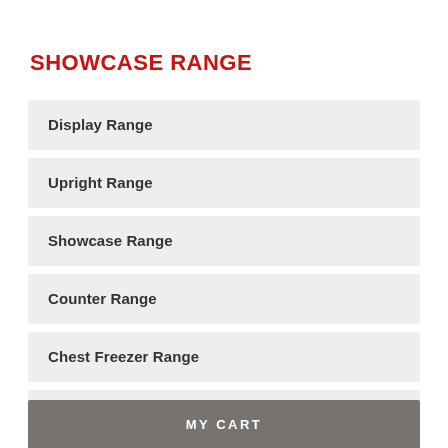SHOWCASE RANGE
Display Range
Upright Range
Showcase Range
Counter Range
Chest Freezer Range
Others
MY CART